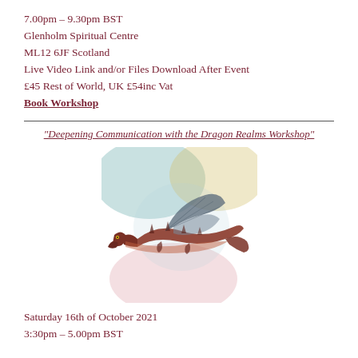7.00pm – 9.30pm BST
Glenholm Spiritual Centre
ML12 6JF Scotland
Live Video Link and/or Files Download After Event
£45 Rest of World, UK £54inc Vat
Book Workshop
“Deepening Communication with the Dragon Realms Workshop”
[Figure (illustration): Watercolour illustration of a dragon flying through colourful clouds (teal, yellow, pink), painted in a loose impressionistic style]
Saturday 16th of October 2021
3:30pm – 5.00pm BST